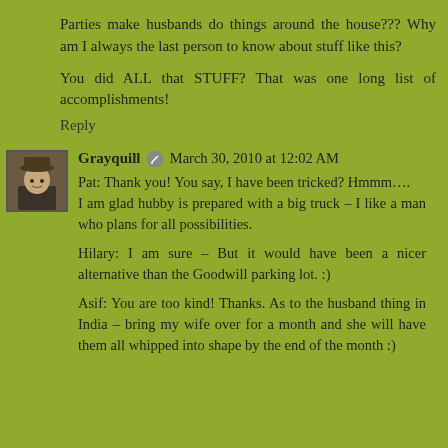Parties make husbands do things around the house??? Why am I always the last person to know about stuff like this?
You did ALL that STUFF? That was one long list of accomplishments!
Reply
Grayquill  March 30, 2010 at 12:02 AM
Pat: Thank you! You say, I have been tricked? Hmmm…. I am glad hubby is prepared with a big truck – I like a man who plans for all possibilities.
Hilary: I am sure – But it would have been a nicer alternative than the Goodwill parking lot. :)
Asif: You are too kind! Thanks. As to the husband thing in India – bring my wife over for a month and she will have them all whipped into shape by the end of the month :)